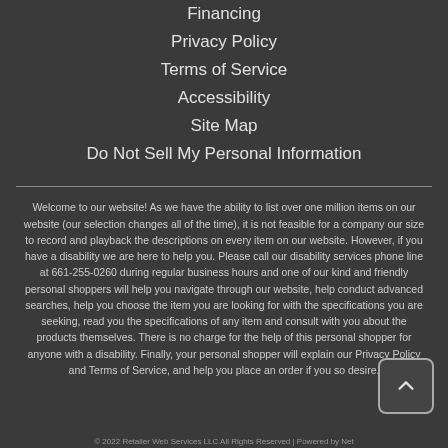Financing
Privacy Policy
Terms of Service
Accessibility
Site Map
Do Not Sell My Personal Information
Welcome to our website! As we have the ability to list over one million items on our website (our selection changes all of the time), it is not feasible for a company our size to record and playback the descriptions on every item on our website. However, if you have a disability we are here to help you. Please call our disability services phone line at 661-255-0260 during regular business hours and one of our kind and friendly personal shoppers will help you navigate through our website, help conduct advanced searches, help you choose the item you are looking for with the specifications you are seeking, read you the specifications of any item and consult with you about the products themselves. There is no charge for the help of this personal shopper for anyone with a disability. Finally, your personal shopper will explain our Privacy Policy and Terms of Service, and help you place an order if you so desire.
© 2022 Retailer Web Services LLC All Rights Reserved | Powered by Net